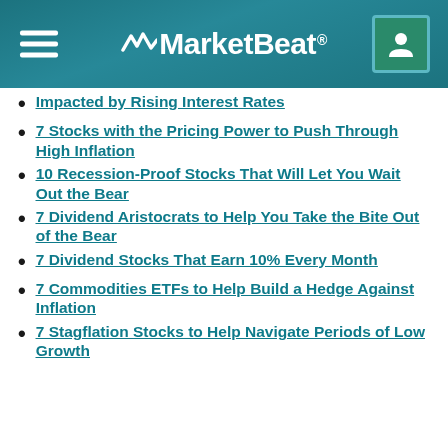MarketBeat
Impacted by Rising Interest Rates
7 Stocks with the Pricing Power to Push Through High Inflation
10 Recession-Proof Stocks That Will Let You Wait Out the Bear
7 Dividend Aristocrats to Help You Take the Bite Out of the Bear
7 Dividend Stocks That Earn 10% Every Month
7 Commodities ETFs to Help Build a Hedge Against Inflation
7 Stagflation Stocks to Help Navigate Periods of Low Growth